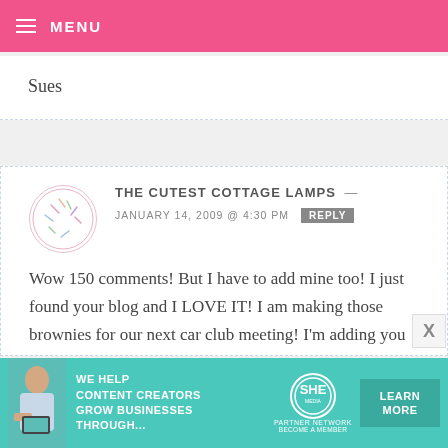MENU
Sues
THE CUTEST COTTAGE LAMPS — JANUARY 14, 2009 @ 4:30 PM REPLY
Wow 150 comments! But I have to add mine too! I just found your blog and I LOVE IT! I am making those brownies for our next car club meeting! I'm adding you to my favorites list!!
xxxooo
[Figure (infographic): SHE Partner Network advertisement banner with woman photo, text WE HELP CONTENT CREATORS GROW BUSINESSES THROUGH..., SHE logo circle, and LEARN MORE button]